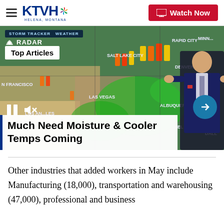KTVH | Watch Now
[Figure (screenshot): Weather radar map showing storm tracker data over western United States with a meteorologist standing in front of it. Shows cities: Rapid City, Minneapolis, Salt Lake City, Denver, N Francisco, Las Vegas, Los Angeles, Albuquerque, El Paso, Dallas. Top Articles badge overlay. Video controls: pause button, mute icon, arrow button. Video title overlay: Much Need Moisture & Cooler Temps Coming]
Much Need Moisture & Cooler Temps Coming
Other industries that added workers in May include Manufacturing (18,000), transportation and warehousing (47,000), professional and business